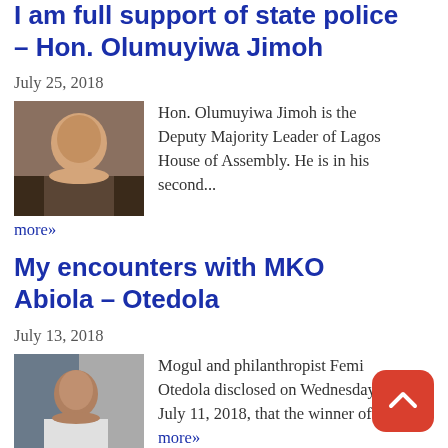I am full support of state police – Hon. Olumuyiwa Jimoh
July 25, 2018
[Figure (photo): Portrait photo of Hon. Olumuyiwa Jimoh]
Hon. Olumuyiwa Jimoh is the Deputy Majority Leader of Lagos House of Assembly. He is in his second...
more»
My encounters with MKO Abiola – Otedola
July 13, 2018
[Figure (photo): Portrait photo of Femi Otedola]
Mogul and philanthropist Femi Otedola disclosed on Wednesday, July 11, 2018, that the winner of... more»